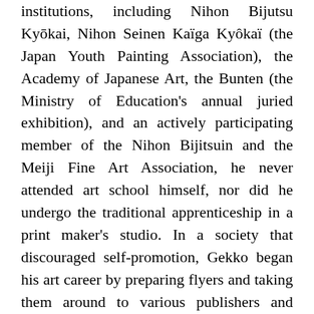institutions, including Nihon Bijutsu Kyōkai, Nihon Seinen Kaïga Kyôkaï (the Japan Youth Painting Association), the Academy of Japanese Art, the Bunten (the Ministry of Education's annual juried exhibition), and an actively participating member of the Nihon Bijitsuin and the Meiji Fine Art Association, he never attended art school himself, nor did he undergo the traditional apprenticeship in a print maker's studio. In a society that discouraged self-promotion, Gekko began his art career by preparing flyers and taking them around to various publishers and places to sell his services as an illustrator for magazines and newspapers and a designer of lacquerware and pottery.
Although his techniques were thoroughly modern, Gekko considered himself to be firmly rooted in the